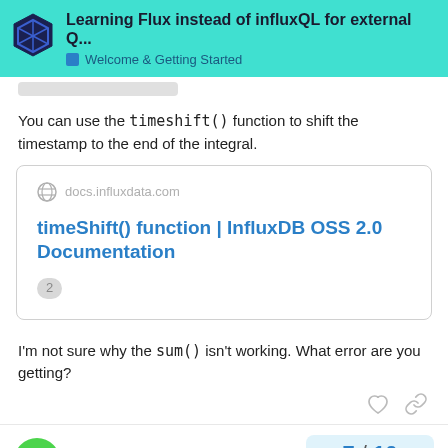Learning Flux instead of influxQL for external Q... | Welcome & Getting Started
You can use the timeshift() function to shift the timestamp to the end of the integral.
[Figure (other): Link card to docs.influxdata.com showing: timeShift() function | InfluxDB OSS 2.0 Documentation (badge: 2)]
I'm not sure why the sum() isn't working. What error are you getting?
Pete0815 — 7 / 10